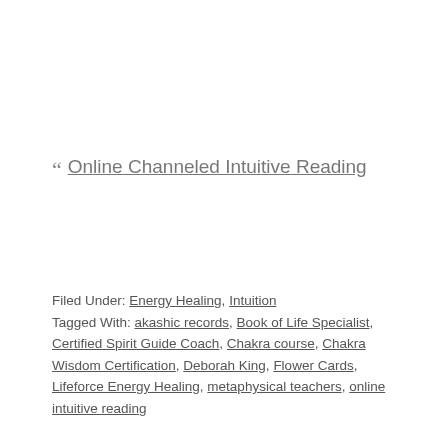" Online Channeled Intuitive Reading
Filed Under: Energy Healing, Intuition Tagged With: akashic records, Book of Life Specialist, Certified Spirit Guide Coach, Chakra course, Chakra Wisdom Certification, Deborah King, Flower Cards, Lifeforce Energy Healing, metaphysical teachers, online intuitive reading